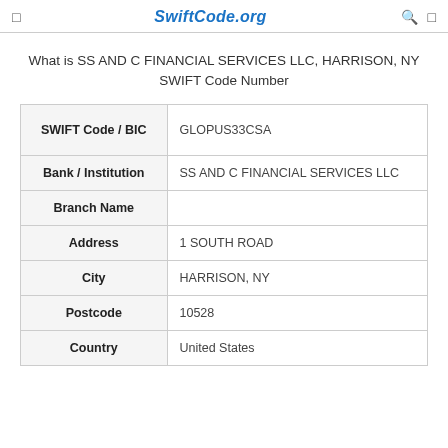SwiftCode.org
What is SS AND C FINANCIAL SERVICES LLC, HARRISON, NY SWIFT Code Number
| Field | Value |
| --- | --- |
| SWIFT Code / BIC | GLOPUS33CSA |
| Bank / Institution | SS AND C FINANCIAL SERVICES LLC |
| Branch Name |  |
| Address | 1 SOUTH ROAD |
| City | HARRISON, NY |
| Postcode | 10528 |
| Country | United States |